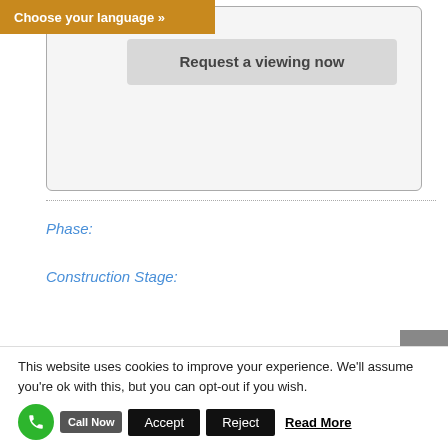Choose your language »
[Figure (screenshot): A rounded box with a grey 'Request a viewing now' button inside, on a light grey background]
Phase:
Construction Stage:
This website uses cookies to improve your experience. We'll assume you're ok with this, but you can opt-out if you wish.
Call Now
Accept
Reject
Read More